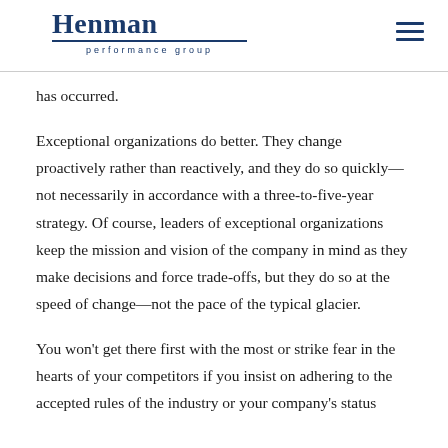Henman performance group
has occurred.
Exceptional organizations do better. They change proactively rather than reactively, and they do so quickly—not necessarily in accordance with a three-to-five-year strategy. Of course, leaders of exceptional organizations keep the mission and vision of the company in mind as they make decisions and force trade-offs, but they do so at the speed of change—not the pace of the typical glacier.
You won't get there first with the most or strike fear in the hearts of your competitors if you insist on adhering to the accepted rules of the industry or your company's status